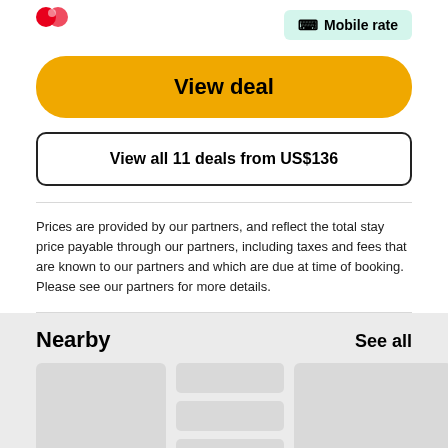[Figure (logo): Red logo icon in top left corner]
Mobile rate
View deal
View all 11 deals from US$136
Prices are provided by our partners, and reflect the total stay price payable through our partners, including taxes and fees that are known to our partners and which are due at time of booking. Please see our partners for more details.
Nearby
See all
[Figure (illustration): Loading placeholder cards for nearby hotels]